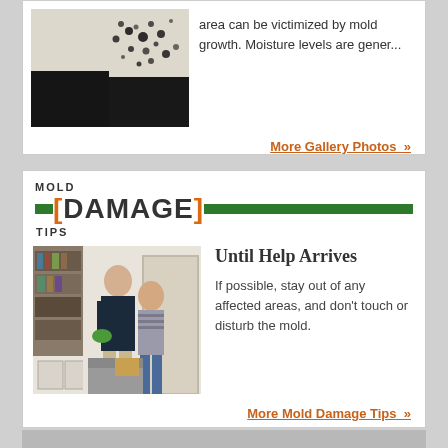[Figure (photo): Mold growth on wall corner — dark spots on white/cream wall with dark floor visible]
area can be victimized by mold growth. Moisture levels are gener...
More Gallery Photos »
MOLD [DAMAGE] TIPS
[Figure (photo): Two SERVPRO technicians (man and woman) standing in a living room with bookshelves and sofa]
Until Help Arrives
If possible, stay out of any affected areas, and don't touch or disturb the mold.
More Mold Damage Tips »